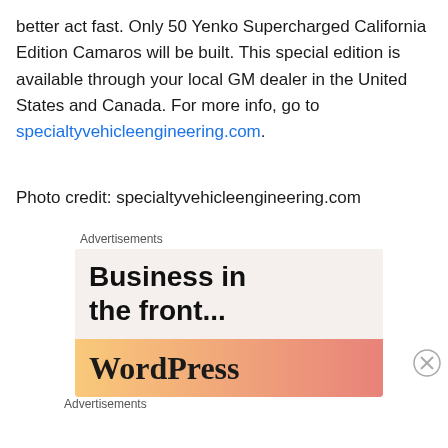better act fast. Only 50 Yenko Supercharged California Edition Camaros will be built. This special edition is available through your local GM dealer in the United States and Canada. For more info, go to specialtyvehicleengineering.com.
Photo credit: specialtyvehicleengineering.com
Advertisements
[Figure (illustration): Advertisement banner with text 'Business in the front...' on a light beige background, and 'WordPress' on an orange-to-pink gradient background below.]
Advertisements